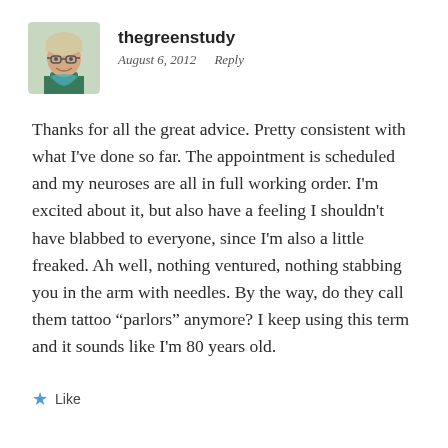[Figure (photo): Profile avatar photo of a woman with short light hair and glasses, wearing a green top]
thegreenstudy
August 6, 2012   Reply
Thanks for all the great advice. Pretty consistent with what I've done so far. The appointment is scheduled and my neuroses are all in full working order. I'm excited about it, but also have a feeling I shouldn't have blabbed to everyone, since I'm also a little freaked. Ah well, nothing ventured, nothing stabbing you in the arm with needles. By the way, do they call them tattoo “parlors” anymore? I keep using this term and it sounds like I'm 80 years old.
Like